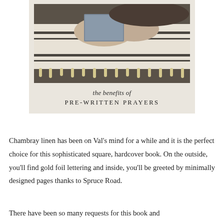[Figure (photo): A card or book cover image showing a person holding a striped blanket with tassels, on a dark background. Below the photo, on a cream/beige background, italic text reads 'the benefits of' and below that in uppercase spaced letters 'PRE-WRITTEN PRAYERS'.]
Chambray linen has been on Val's mind for a while and it is the perfect choice for this sophisticated square, hardcover book. On the outside, you'll find gold foil lettering and inside, you'll be greeted by minimally designed pages thanks to Spruce Road.
There have been so many requests for this book and